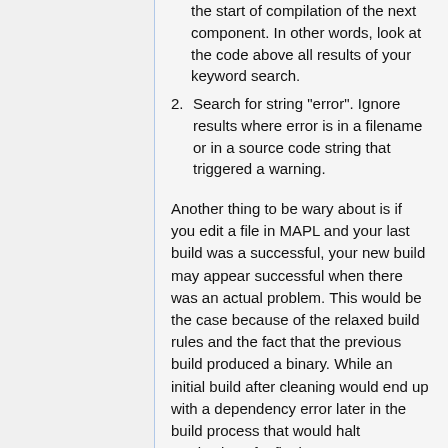the start of compilation of the next component. In other words, look at the code above all results of your keyword search.
2. Search for string "error". Ignore results where error is in a filename or in a source code string that triggered a warning.
Another thing to be wary about is if you edit a file in MAPL and your last build was a successful, your new build may appear successful when there was an actual problem. This would be the case because of the relaxed build rules and the fact that the previous build produced a binary. While an initial build after cleaning would end up with a dependency error later in the build process that would halt production of a final GCHP executable, a rebuild without